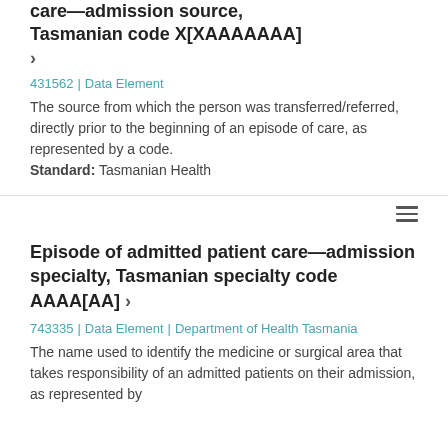care—admission source, Tasmanian code X[XAAAAAAA] ›
431562 | Data Element
The source from which the person was transferred/referred, directly prior to the beginning of an episode of care, as represented by a code.
Standard: Tasmanian Health
Episode of admitted patient care—admission specialty, Tasmanian specialty code AAAA[AA] ›
743335 | Data Element | Department of Health Tasmania
The name used to identify the medicine or surgical area that takes responsibility of an admitted patients on their admission, as represented by